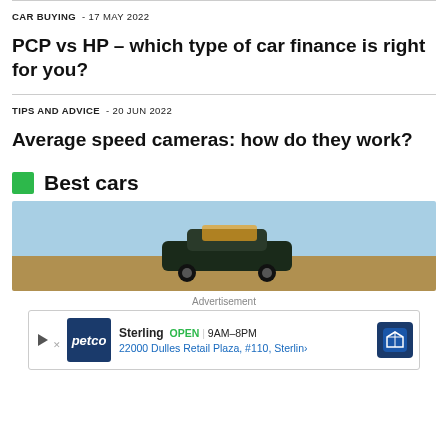CAR BUYING  - 17 May 2022
PCP vs HP – which type of car finance is right for you?
TIPS AND ADVICE  - 20 Jun 2022
Average speed cameras: how do they work?
Best cars
[Figure (photo): Partial view of a car on a hillside with blue sky background]
Advertisement
[Figure (other): Petco advertisement: Sterling OPEN 9AM-8PM, 22000 Dulles Retail Plaza, #110, Sterling]